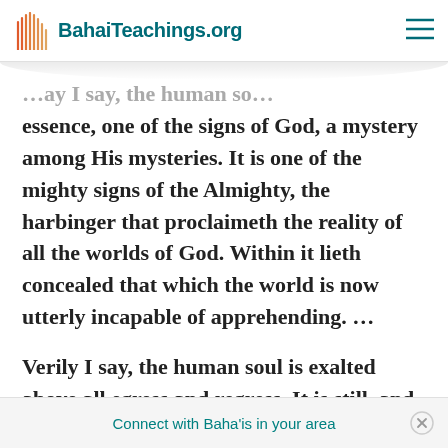BahaiTeachings.org
...ay I say, the human so... essence, one of the signs of God, a mystery among His mysteries. It is one of the mighty signs of the Almighty, the harbinger that proclaimeth the reality of all the worlds of God. Within it lieth concealed that which the world is now utterly incapable of apprehending. …
Verily I say, the human soul is exalted above all egress and regress. It is still, and yet it seareth; it mo... and yet it is still
Connect with Baha'is in your area